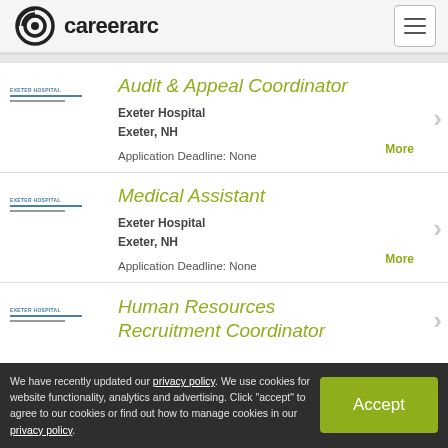careerarc
Audit & Appeal Coordinator — Exeter Hospital, Exeter, NH — Application Deadline: None
Medical Assistant — Exeter Hospital, Exeter, NH — Application Deadline: None
Human Resources Recruitment Coordinator
We have recently updated our privacy policy. We use cookies for website functionality, analytics and advertising. Click "accept" to agree to our cookies or find out how to manage cookies in our privacy policy.